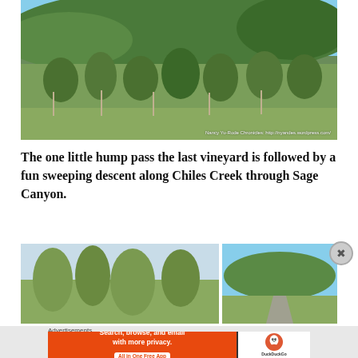[Figure (photo): Orchard rows of trees on sloped hillside with forest background and blue sky, Napa Valley vineyard area]
Nancy Yu-Rode Chronicles: http://nyandes.wordpress.com/
The one little hump pass the last vineyard is followed by a fun sweeping descent along Chiles Creek through Sage Canyon.
[Figure (photo): Two side-by-side photos: left showing tall trees with light sky, right showing a road through landscape with hills]
Advertisements
[Figure (screenshot): DuckDuckGo advertisement: Search, browse, and email with more privacy. All in One Free App]